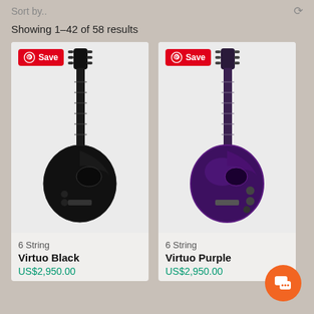Sort by..
Showing 1–42 of 58 results
[Figure (photo): Black electric guitar (Virtuo Black, 6 String) with carbon fiber finish on light gray background, with Pinterest Save button overlay]
6 String
Virtuo Black
US$2,950.00
[Figure (photo): Purple electric guitar (Virtuo Purple, 6 String) with metallic purple finish on light gray background, with Pinterest Save button overlay]
6 String
Virtuo Purple
US$2,950.00